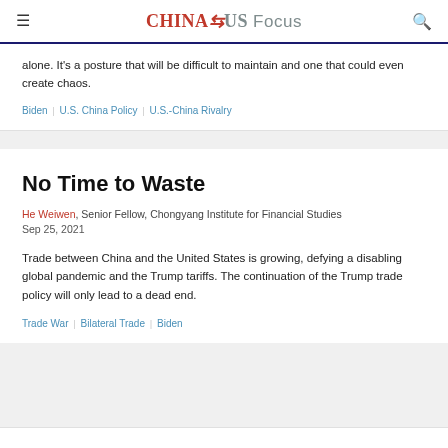CHINA US Focus
alone. It's a posture that will be difficult to maintain and one that could even create chaos.
Biden | U.S. China Policy | U.S.-China Rivalry
No Time to Waste
He Weiwen, Senior Fellow, Chongyang Institute for Financial Studies
Sep 25, 2021
Trade between China and the United States is growing, defying a disabling global pandemic and the Trump tariffs. The continuation of the Trump trade policy will only lead to a dead end.
Trade War | Bilateral Trade | Biden